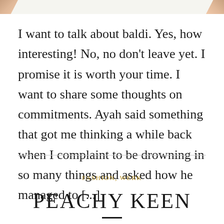[Figure (illustration): Top decorative triangular corner elements in peach/tan color on left and right sides of a light background bar]
I want to talk about baldi. Yes, how interesting! No, no don't leave yet. I promise it is worth your time. I want to share some thoughts on commitments. Ayah said something that got me thinking a while back when I complaint to be drowning in so many things and asked how he managed to [...]
FASHION, WERK
PEACHY KEEN